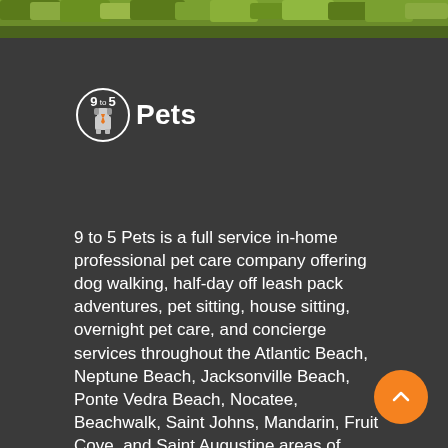[Figure (photo): Green grass texture banner at the top of the page]
[Figure (logo): 9 to 5 Pets logo — circular outline with '9 to 5' text inside and a cartoon dog wearing a tie, followed by bold text 'Pets']
9 to 5 Pets is a full service in-home professional pet care company offering dog walking, half-day off leash pack adventures, pet sitting, house sitting, overnight pet care, and concierge services throughout the Atlantic Beach, Neptune Beach, Jacksonville Beach, Ponte Vedra Beach, Nocatee, Beachwalk, Saint Johns, Mandarin, Fruit Cove, and Saint Augustine areas of Northeast Florida. We are a registered LLC